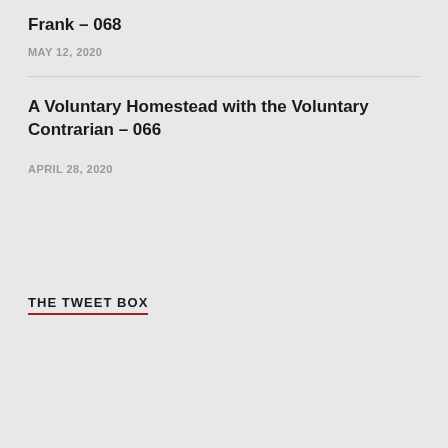Frank – 068
MAY 12, 2020
A Voluntary Homestead with the Voluntary Contrarian – 066
APRIL 28, 2020
THE TWEET BOX